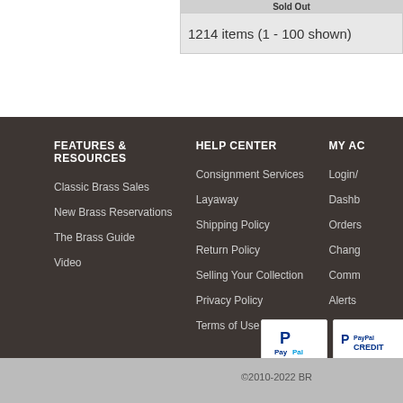Sold Out
1214 items (1 - 100 shown)
FEATURES & RESOURCES
Classic Brass Sales
New Brass Reservations
The Brass Guide
Video
HELP CENTER
Consignment Services
Layaway
Shipping Policy
Return Policy
Selling Your Collection
Privacy Policy
Terms of Use
MY AC
Login/
Dashb
Orders
Chang
Comm
Alerts
[Figure (logo): PayPal payment button logo]
[Figure (logo): PayPal Credit payment button logo]
©2010-2022 BR